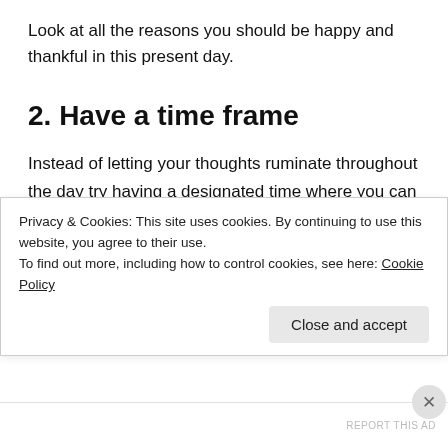Look at all the reasons you should be happy and thankful in this present day.
2. Have a time frame
Instead of letting your thoughts ruminate throughout the day try having a designated time where you can only be sad for a short period of time and then once the timer bleeps, that it. Those thoughts are left in the past.
Privacy & Cookies: This site uses cookies. By continuing to use this website, you agree to their use.
To find out more, including how to control cookies, see here: Cookie Policy
Close and accept